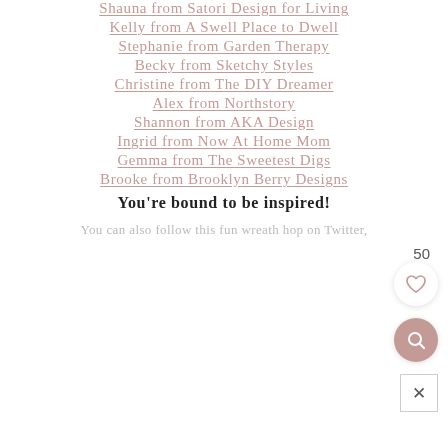Shauna from Satori Design for Living
Kelly from A Swell Place to Dwell
Stephanie from Garden Therapy
Becky from Sketchy Styles
Christine from The DIY Dreamer
Alex from Northstory
Shannon from AKA Design
Ingrid from Now At Home Mom
Gemma from The Sweetest Digs
Brooke from Brooklyn Berry Designs
You're bound to be inspired!
You can also follow this fun wreath hop on Twitter,